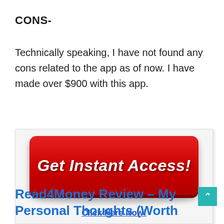CONS-
Technically speaking, I have not found any cons related to the app as of now. I have made over $900 with this app.
[Figure (infographic): Red 'Get Instant Access!' button with 'Click Here Now!' link below it, inside a light grey bordered box.]
Read4Money Review – My Personal Thoughts (Worth